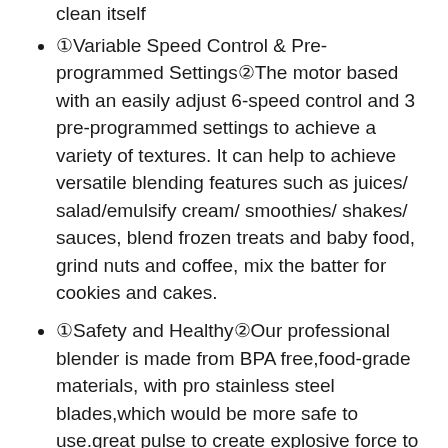clean itself
①Variable Speed Control & Pre-programmed Settings②The motor based with an easily adjust 6-speed control and 3 pre-programmed settings to achieve a variety of textures. It can help to achieve versatile blending features such as juices/ salad/emulsify cream/ smoothies/ shakes/ sauces, blend frozen treats and baby food, grind nuts and coffee, mix the batter for cookies and cakes.
①Safety and Healthy②Our professional blender is made from BPA free,food-grade materials, with pro stainless steel blades,which would be more safe to use.great pulse to create explosive force to achieve precise crushing.
①Perfect Service and Warranty②:If you have any questions about our Kitchen Blender ,